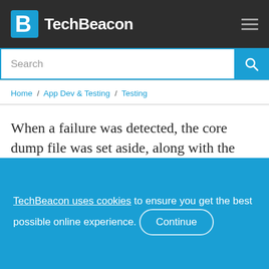TechBeacon
Home / App Dev & Testing / Testing
When a failure was detected, the core dump file was set aside, along with the dataset used, for engineers to use to troubleshoot later. This could be done dozens of times per second, and it found some very interesting bugs that would have
TechBeacon uses cookies to ensure you get the best possible online experience. Continue